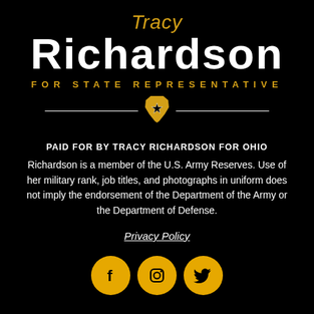Tracy Richardson FOR STATE REPRESENTATIVE
[Figure (logo): Ohio state shape icon in gold with a star, flanked by white horizontal lines on either side]
PAID FOR BY TRACY RICHARDSON FOR OHIO
Richardson is a member of the U.S. Army Reserves. Use of her military rank, job titles, and photographs in uniform does not imply the endorsement of the Department of the Army or the Department of Defense.
Privacy Policy
[Figure (illustration): Three gold circular social media icons: Facebook, Instagram, Twitter]